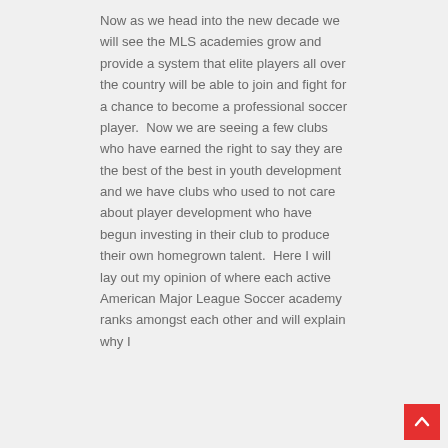Now as we head into the new decade we will see the MLS academies grow and provide a system that elite players all over the country will be able to join and fight for a chance to become a professional soccer player.  Now we are seeing a few clubs who have earned the right to say they are the best of the best in youth development and we have clubs who used to not care about player development who have begun investing in their club to produce their own homegrown talent.  Here I will lay out my opinion of where each active American Major League Soccer academy ranks amongst each other and will explain why I